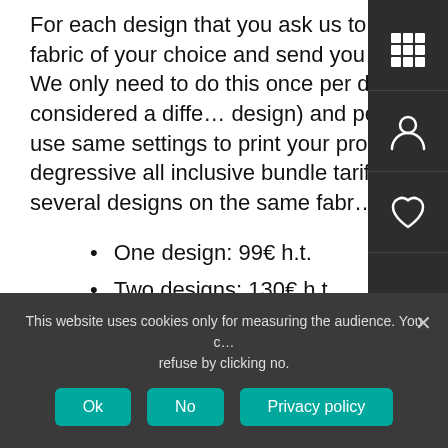For each design that you ask us to print, we grade colours, test on the fabric of your choice and send you a printed sample proof for validation. We only need to do this once per design (differences in colours are considered a different design) and per fabric type, when validated we will use the same settings to print your production and re-runs. We created degressive all inclusive bundle tarifs that apply development work of several designs on the same fabric.
One design: 99€ h.t.
Two designs: 130€ h.t.
Three designs: 150€ h.t.
Four designs: 170€ h.t.
Applies to all our fabrics except silk. Transport comes on top. Make sure your design(s) comply with our requirements.
This website uses cookies only for measuring the audience. You can refuse by clicking no.